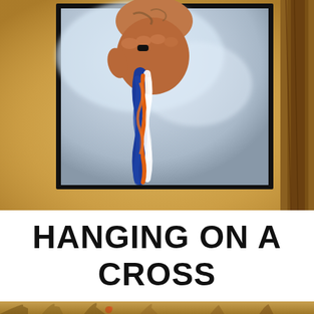[Figure (photo): A close-up photo of a hand holding a blue, white, and orange braided rope or cord, with a blurred warm golden outdoor background. The photo is framed with a thick black border inside a larger warm golden/tan background with a tree trunk visible on the right.]
HANGING ON A CROSS
[Figure (photo): A partial background photo showing warm golden-toned wild grass or meadow scene at the bottom of the page.]